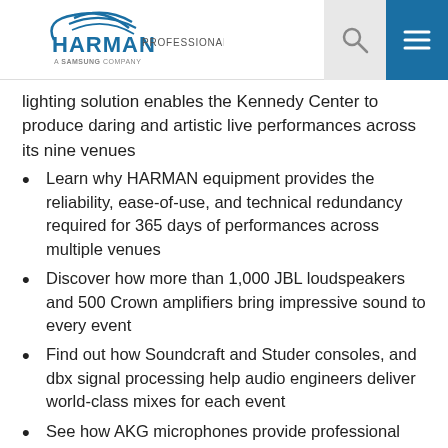HARMAN PROFESSIONAL SOLUTIONS — A Samsung Company
lighting solution enables the Kennedy Center to produce daring and artistic live performances across its nine venues
Learn why HARMAN equipment provides the reliability, ease-of-use, and technical redundancy required for 365 days of performances across multiple venues
Discover how more than 1,000 JBL loudspeakers and 500 Crown amplifiers bring impressive sound to every event
Find out how Soundcraft and Studer consoles, and dbx signal processing help audio engineers deliver world-class mixes for each event
See how AKG microphones provide professional sound reproduction for the NSO, WNO, and touring artists